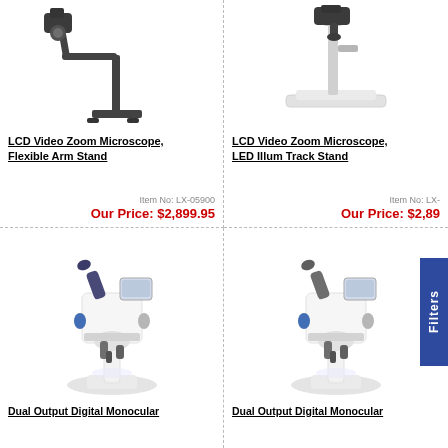[Figure (photo): LCD Video Zoom Microscope with Flexible Arm Stand - top portion of product image]
LCD Video Zoom Microscope, Flexible Arm Stand
Item No: LX-05900
Our Price: $2,899.95
[Figure (photo): LCD Video Zoom Microscope with LED Illum Track Stand - top portion of product image]
LCD Video Zoom Microscope, LED Illum Track Stand
Item No: LX-...
Our Price: $2,89...
[Figure (photo): Dual Output Digital Monocular microscope with LCD screen - lower product image]
Dual Output Digital Monocular
[Figure (photo): Dual Output Digital Monocular microscope with LCD screen - lower product image right]
Dual Output Digital Monocular